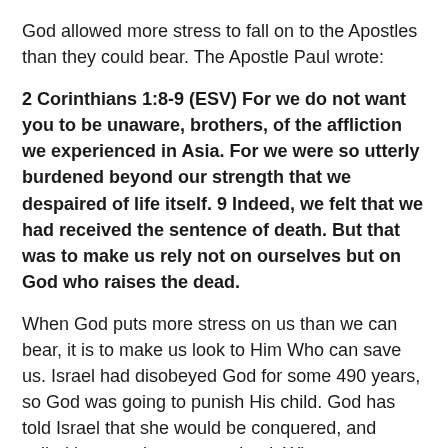God allowed more stress to fall on to the Apostles than they could bear. The Apostle Paul wrote:
2 Corinthians 1:8-9 (ESV) For we do not want you to be unaware, brothers, of the affliction we experienced in Asia. For we were so utterly burdened beyond our strength that we despaired of life itself. 9 Indeed, we felt that we had received the sentence of death. But that was to make us rely not on ourselves but on God who raises the dead.
When God puts more stress on us than we can bear, it is to make us look to Him Who can save us. Israel had disobeyed God for some 490 years, so God was going to punish His child. God has told Israel that she would be conquered, and exiled into another strange land. When